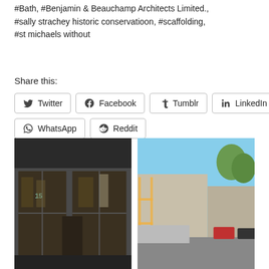#Bath, #Benjamin & Beauchamp Architects Limited., #sally strachey historic conservatioon, #scaffolding, #st michaels without
Share this:
Twitter
Facebook
Tumblr
LinkedIn
WhatsApp
Reddit
Loading...
[Figure (photo): Storefront with dark facade, display windows showing interior items, number 15 visible]
[Figure (photo): Street view with scaffolding along building exterior, cars parked, blue sky with trees visible]